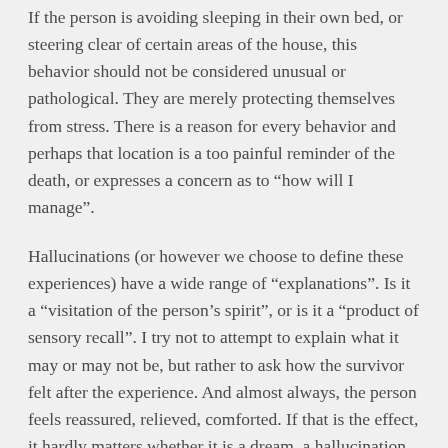If the person is avoiding sleeping in their own bed, or steering clear of certain areas of the house, this behavior should not be considered unusual or pathological. They are merely protecting themselves from stress. There is a reason for every behavior and perhaps that location is a too painful reminder of the death, or expresses a concern as to “how will I manage”.
Hallucinations (or however we choose to define these experiences) have a wide range of “explanations”. Is it a “visitation of the person’s spirit”, or is it a “product of sensory recall”. I try not to attempt to explain what it may or may not be, but rather to ask how the survivor felt after the experience. And almost always, the person feels reassured, relieved, comforted. If that is the effect, it hardly matters whether it is a dream, a hallucination or a visitation, and to argue that seems to me to miss the point.